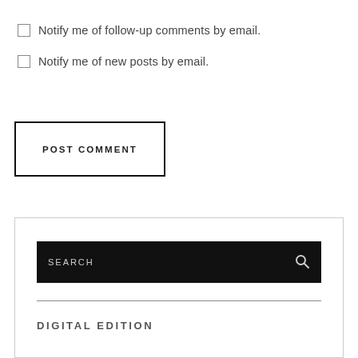Notify me of follow-up comments by email.
Notify me of new posts by email.
POST COMMENT
[Figure (screenshot): Search bar with black background, 'SEARCH' label in light gray uppercase letters, and a magnifying glass icon on the right.]
DIGITAL EDITION